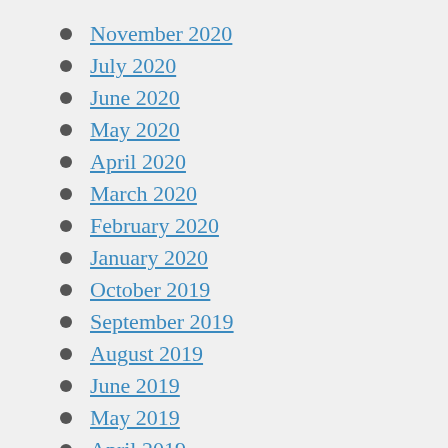November 2020
July 2020
June 2020
May 2020
April 2020
March 2020
February 2020
January 2020
October 2019
September 2019
August 2019
June 2019
May 2019
April 2019